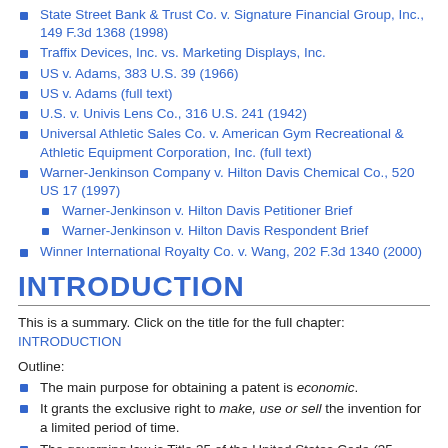State Street Bank & Trust Co. v. Signature Financial Group, Inc., 149 F.3d 1368 (1998)
Traffix Devices, Inc. vs. Marketing Displays, Inc.
US v. Adams, 383 U.S. 39 (1966)
US v. Adams (full text)
U.S. v. Univis Lens Co., 316 U.S. 241 (1942)
Universal Athletic Sales Co. v. American Gym Recreational & Athletic Equipment Corporation, Inc. (full text)
Warner-Jenkinson Company v. Hilton Davis Chemical Co., 520 US 17 (1997)
Warner-Jenkinson v. Hilton Davis Petitioner Brief
Warner-Jenkinson v. Hilton Davis Respondent Brief
Winner International Royalty Co. v. Wang, 202 F.3d 1340 (2000)
INTRODUCTION
This is a summary. Click on the title for the full chapter: INTRODUCTION
Outline:
The main purpose for obtaining a patent is economic.
It grants the exclusive right to make, use or sell the invention for a limited period of time.
The governing law is Title 35 of the United States Code (35 USC).
The governing regulations are from Title 37 of the Code of Federal